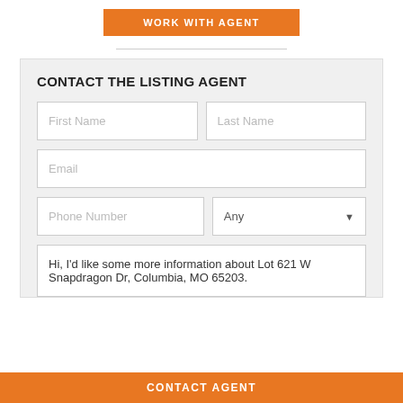WORK WITH AGENT
CONTACT THE LISTING AGENT
First Name
Last Name
Email
Phone Number
Any
Hi, I'd like some more information about Lot 621 W Snapdragon Dr, Columbia, MO 65203.
CONTACT AGENT